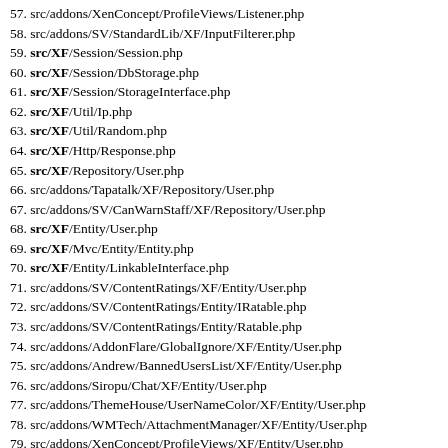57. src/addons/XenConcept/ProfileViews/Listener.php
58. src/addons/SV/StandardLib/XF/InputFilterer.php
59. src/XF/Session/Session.php
60. src/XF/Session/DbStorage.php
61. src/XF/Session/StorageInterface.php
62. src/XF/Util/Ip.php
63. src/XF/Util/Random.php
64. src/XF/Http/Response.php
65. src/XF/Repository/User.php
66. src/addons/Tapatalk/XF/Repository/User.php
67. src/addons/SV/CanWarnStaff/XF/Repository/User.php
68. src/XF/Entity/User.php
69. src/XF/Mvc/Entity/Entity.php
70. src/XF/Entity/LinkableInterface.php
71. src/addons/SV/ContentRatings/XF/Entity/User.php
72. src/addons/SV/ContentRatings/Entity/IRatable.php
73. src/addons/SV/ContentRatings/Entity/Ratable.php
74. src/addons/AddonFlare/GlobalIgnore/XF/Entity/User.php
75. src/addons/Andrew/BannedUsersList/XF/Entity/User.php
76. src/addons/Siropu/Chat/XF/Entity/User.php
77. src/addons/ThemeHouse/UserNameColor/XF/Entity/User.php
78. src/addons/WMTech/AttachmentManager/XF/Entity/User.php
79. src/addons/XenConcept/ProfileViews/XF/Entity/User.php
80. src/addons/XenConcept/UserActivity/XF/Entity/User.php
81. src/addons/XFMG/XF/Entity/User.php
82. src/addons/SV/CanWarnStaff/XF/Entity/User.php